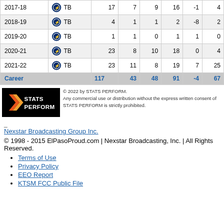| Season | Team | GP | G | A | PTS | +/- | PIM |
| --- | --- | --- | --- | --- | --- | --- | --- |
| 2017-18 | TB | 17 | 7 | 9 | 16 | -1 | 4 |
| 2018-19 | TB | 4 | 1 | 1 | 2 | -8 | 2 |
| 2019-20 | TB | 1 | 1 | 0 | 1 | 1 | 0 |
| 2020-21 | TB | 23 | 8 | 10 | 18 | 0 | 4 |
| 2021-22 | TB | 23 | 11 | 8 | 19 | 7 | 25 |
| Career |  | 117 | 43 | 48 | 91 | -4 | 67 |
[Figure (logo): STATS PERFORM logo - black background with orange/white chevron icon and white text]
© 2022 by STATS PERFORM. Any commercial use or distribution without the express written consent of STATS PERFORM is strictly prohibited.
_
Nexstar Broadcasting Group Inc.
© 1998 - 2015 ElPasoProud.com | Nexstar Broadcasting, Inc. | All Rights Reserved.
Terms of Use
Privacy Policy
EEO Report
KTSM FCC Public File